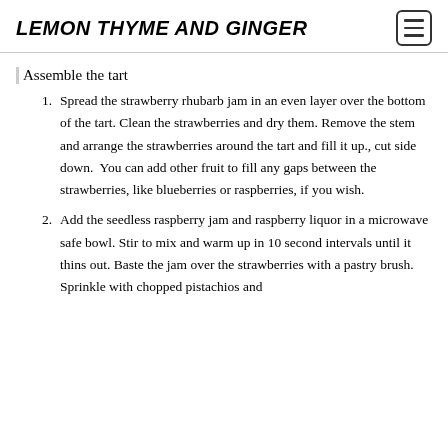LEMON THYME AND GINGER
Assemble the tart
Spread the strawberry rhubarb jam in an even layer over the bottom of the tart. Clean the strawberries and dry them. Remove the stem and arrange the strawberries around the tart and fill it up., cut side down. You can add other fruit to fill any gaps between the strawberries, like blueberries or raspberries, if you wish.
Add the seedless raspberry jam and raspberry liquor in a microwave safe bowl. Stir to mix and warm up in 10 second intervals until it thins out. Baste the jam over the strawberries with a pastry brush. Sprinkle with chopped pistachios and